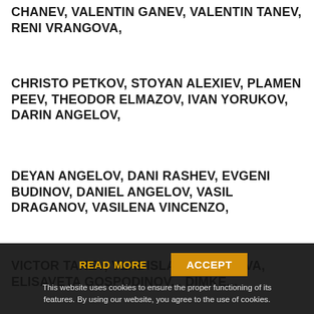VALERI YORDANOV, DEYAN DONKOV, ROSI CHANEV, VALENTIN GANEV, VALENTIN TANEV, RENI VRANGOVA,
CHRISTO PETKOV, STOYAN ALEXIEV, PLAMEN PEEV, THEODOR ELMAZOV, IVAN YORUKOV, DARIN ANGELOV,
DEYAN ANGELOV, DANI RASHEV, EVGENI BUDINOV, DANIEL ANGELOV, VASIL DRAGANOV, VASILENA VINCENZO,
VICTOR TANEV, VLADISLAVA NIKOLO... ELISAVETA GOSPODINOV... DIMKE...
READ MORE    ACCEPT
This website uses cookies to ensure the proper functioning of its features. By using our website, you agree to the use of cookies.